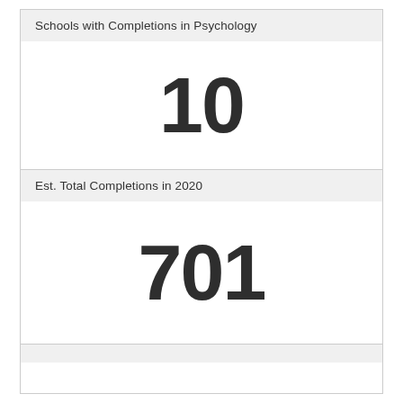Schools with Completions in Psychology
10
Est. Total Completions in 2020
701